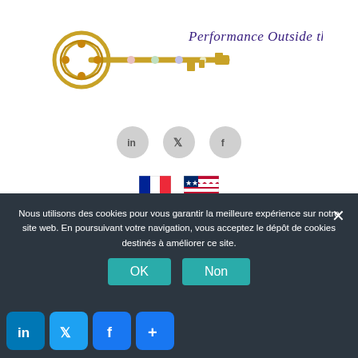[Figure (logo): Decorative golden key logo with text 'Performance Outside the Box' in cursive purple/blue script]
[Figure (infographic): Three circular social media icons: LinkedIn, Twitter, Facebook on grey circles]
[Figure (infographic): French flag and US flag icons for language selection]
[Figure (infographic): Dark grey hamburger/menu button with three horizontal white lines]
governments (linked to lobbies and multinational industrialists) are concretely committed in the same direction to move forward together.
Nous utilisons des cookies pour vous garantir la meilleure expérience sur notre site web. En poursuivant votre navigation, vous acceptez le dépôt de cookies destinés à améliorer ce site.
[Figure (infographic): Row of social share icons (LinkedIn, Twitter, Facebook, Plus) in blue, and OK / Non buttons in teal]